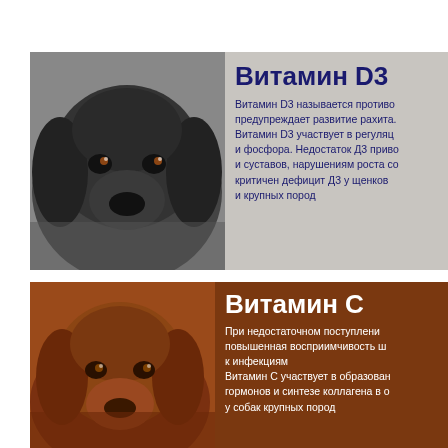[Figure (photo): Black spaniel dog close-up face photo (grayscale) on grey background]
Витамин D3
Витамин D3 называется противо... предупреждает развитие рахита. Витамин D3 участвует в регуляц... и фосфора. Недостаток Д3 приво... и суставов, нарушениям роста со... критичен дефицит Д3 у щенков ... и крупных пород
[Figure (photo): Brown/golden dog close-up face photo on warm brown background]
Витамин С
При недостаточном поступлени... повышенная восприимчивость ш... к инфекциям Витамин С участвует в образован... гормонов и синтезе коллагена в о... у собак крупных пород